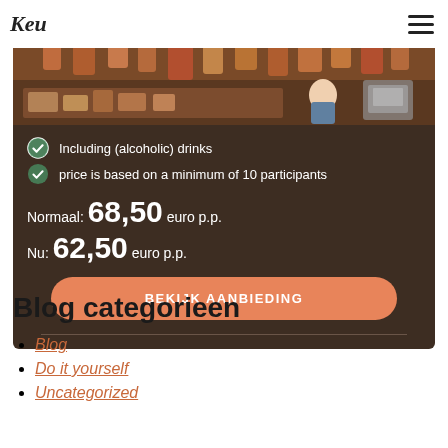Keu
[Figure (photo): Photo of a meat/deli shop interior with hanging cured meats and a worker behind the counter]
Including (alcoholic) drinks
price is based on a minimum of 10 participants
Normaal: 68,50 euro p.p.
Nu: 62,50 euro p.p.
BEKIJK AANBIEDING
Blog categorieen
Blog
Do it yourself
Uncategorized